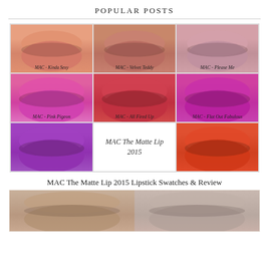POPULAR POSTS
[Figure (photo): 3x3 grid of MAC lipstick swatches showing lip close-ups. Row 1: MAC - Kinda Sexy (peachy-nude), MAC - Velvet Teddy (brown-nude), MAC - Please Me (pink). Row 2: MAC - Pink Pigeon (hot pink), MAC - All Fired Up (red), MAC - Flat Out Fabulous (magenta). Row 3: purple lips, MAC The Matte Lip 2015 text center, orange-red lips.]
MAC The Matte Lip 2015 Lipstick Swatches & Review
[Figure (photo): Bottom strip showing two partial lip close-up photos side by side - nude/taupe tones.]